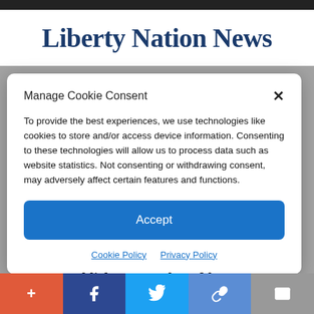Liberty Nation News
Manage Cookie Consent
To provide the best experiences, we use technologies like cookies to store and/or access device information. Consenting to these technologies will allow us to process data such as website statistics. Not consenting or withdrawing consent, may adversely affect certain features and functions.
Accept
Cookie Policy   Privacy Policy
establishment tool, and he can't